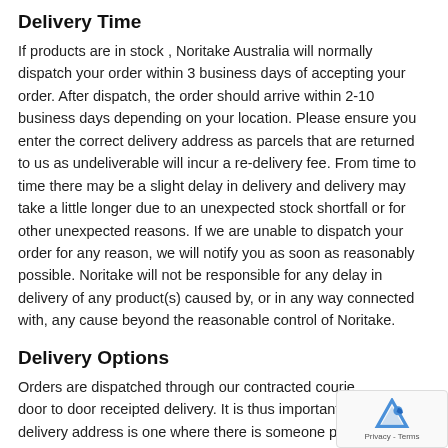Delivery Time
If products are in stock , Noritake Australia will normally dispatch your order within 3 business days of accepting your order. After dispatch, the order should arrive within 2-10 business days depending on your location. Please ensure you enter the correct delivery address as parcels that are returned to us as undeliverable will incur a re-delivery fee. From time to time there may be a slight delay in delivery and delivery may take a little longer due to an unexpected stock shortfall or for other unexpected reasons. If we are unable to dispatch your order for any reason, we will notify you as soon as reasonably possible. Noritake will not be responsible for any delay in delivery of any product(s) caused by, or in any way connected with, any cause beyond the reasonable control of Noritake.
Delivery Options
Orders are dispatched through our contracted courie... door to door receipted delivery. It is thus important t... delivery address is one where there is someone present